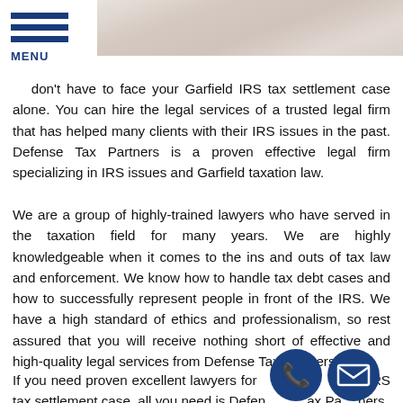[Figure (photo): Hero image showing a partial view of a person, light skin tones, cropped at top of page]
MENU
don't have to face your Garfield IRS tax settlement case alone. You can hire the legal services of a trusted legal firm that has helped many clients with their IRS issues in the past. Defense Tax Partners is a proven effective legal firm specializing in IRS issues and Garfield taxation law.
We are a group of highly-trained lawyers who have served in the taxation field for many years. We are highly knowledgeable when it comes to the ins and outs of tax law and enforcement. We know how to handle tax debt cases and how to successfully represent people in front of the IRS. We have a high standard of ethics and professionalism, so rest assured that you will receive nothing short of effective and high-quality legal services from Defense Tax Partners.
If you need proven excellent lawyers for your Garfield IRS tax settlement case, all you need is Defense Tax Partners.